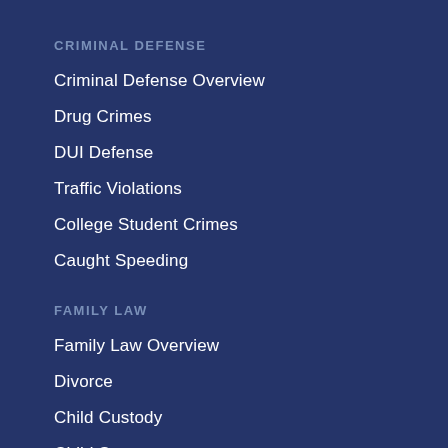CRIMINAL DEFENSE
Criminal Defense Overview
Drug Crimes
DUI Defense
Traffic Violations
College Student Crimes
Caught Speeding
FAMILY LAW
Family Law Overview
Divorce
Child Custody
Child Support
Adoptions